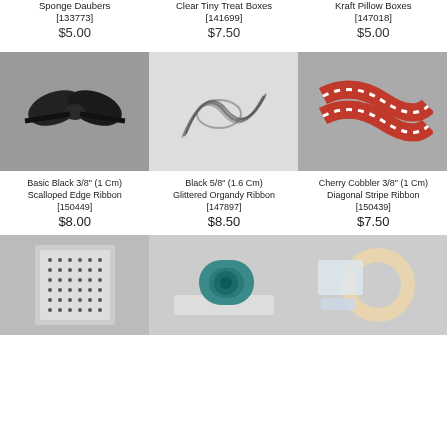Sponge Daubers [133773]
$5.00
Clear Tiny Treat Boxes [141699]
$7.50
Kraft Pillow Boxes [147018]
$5.00
[Figure (photo): Black ribbon tied in a bow]
[Figure (photo): Black sheer/glittered organdy ribbon coiled]
[Figure (photo): Red and white diagonal stripe ribbon]
Basic Black 3/8" (1 Cm) Scalloped Edge Ribbon [150449]
$8.00
Black 5/8" (1.6 Cm) Glittered Organdy Ribbon [147897]
$8.50
Cherry Cobbler 3/8" (1 Cm) Diagonal Stripe Ribbon [150439]
$7.50
[Figure (photo): Sheet of small decorative stickers]
[Figure (photo): Tape runner/adhesive dispenser on paper]
[Figure (photo): Ring and square adhesive pieces]